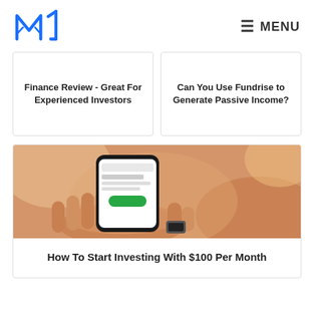M1 Finance — MENU
Finance Review - Great For Experienced Investors
Can You Use Fundrise to Generate Passive Income?
[Figure (photo): Hands holding a smartphone showing a financial/investment app with a green button, blurred background with warm tones]
How To Start Investing With $100 Per Month